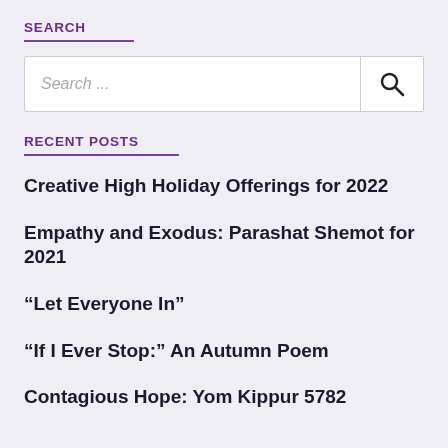SEARCH
[Figure (screenshot): Search input box with placeholder text 'Search ...' and a search (magnifying glass) button on the right]
RECENT POSTS
Creative High Holiday Offerings for 2022
Empathy and Exodus: Parashat Shemot for 2021
“Let Everyone In”
“If I Ever Stop:” An Autumn Poem
Contagious Hope: Yom Kippur 5782